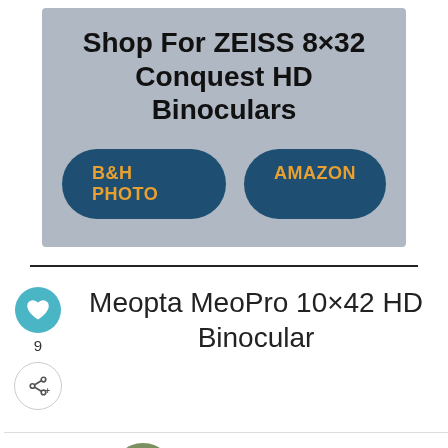[Figure (infographic): Advertisement banner for ZEISS 8x32 Conquest HD Binoculars with two purchase buttons: B&H Photo and Amazon, on a blue-grey background.]
Meopta MeoPro 10×42 HD Binocular
[Figure (infographic): WHAT'S NEXT navigation bar with thumbnail image and text: BEST Safari Shirts For M...]